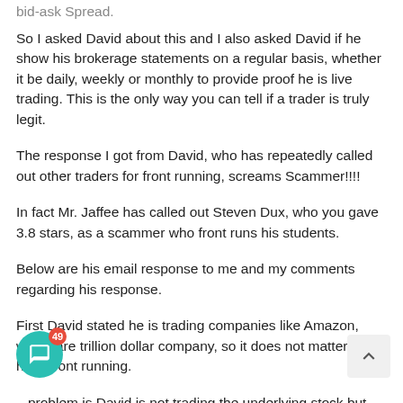bid-ask Spread.
So I asked David about this and I also asked David if he show his brokerage statements on a regular basis, whether it be daily, weekly or monthly to provide proof he is live trading. This is the only way you can tell if a trader is truly legit.
The response I got from David, who has repeatedly called out other traders for front running, screams Scammer!!!!
In fact Mr. Jaffee has called out Steven Dux, who you gave 3.8 stars, as a scammer who front runs his students.
Below are his email response to me and my comments regarding his response.
First David stated he is trading companies like Amazon, which are trillion dollar company, so it does not matter that he is front running.
...problem is David is not trading the underlying stock but the options which do not have the volume as the